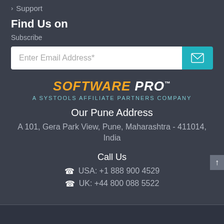> Support
Find Us on
Subscribe
Enter Email Address*
[Figure (logo): SOFTWARE PRO logo with tagline 'A SysTools Affiliate Partners Company']
Our Pune Address
A 101, Gera Park View, Pune, Maharashtra - 411014, India
Call Us
USA: +1 888 900 4529
UK: +44 800 088 5522